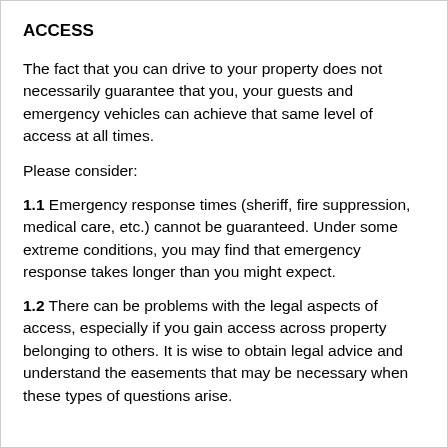ACCESS
The fact that you can drive to your property does not necessarily guarantee that you, your guests and emergency vehicles can achieve that same level of access at all times.
Please consider:
1.1 Emergency response times (sheriff, fire suppression, medical care, etc.) cannot be guaranteed. Under some extreme conditions, you may find that emergency response takes longer than you might expect.
1.2 There can be problems with the legal aspects of access, especially if you gain access across property belonging to others. It is wise to obtain legal advice and understand the easements that may be necessary when these types of questions arise.